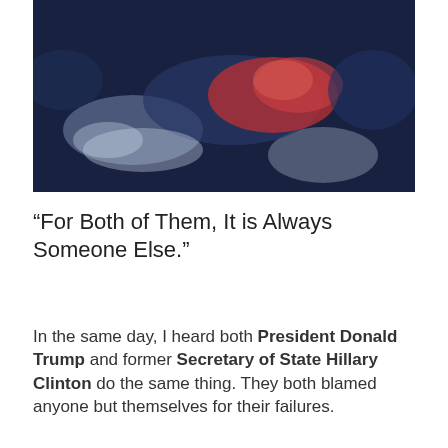[Figure (photo): Blurred dark blue background image with red and white shapes, possibly a political map or abstract graphic.]
"For Both of Them, It is Always Someone Else."
In the same day, I heard both President Donald Trump and former Secretary of State Hillary Clinton do the same thing. They both blamed anyone but themselves for their failures.